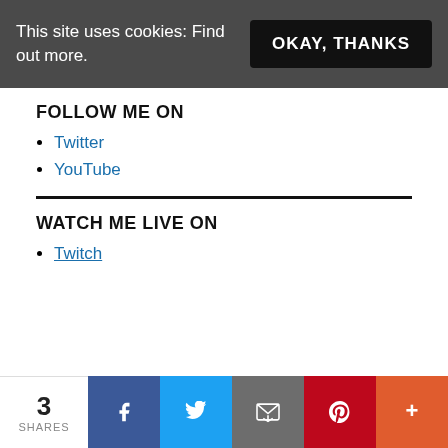This site uses cookies: Find out more.
OKAY, THANKS
FOLLOW ME ON
Twitter
YouTube
WATCH ME LIVE ON
Twitch
3 SHARES